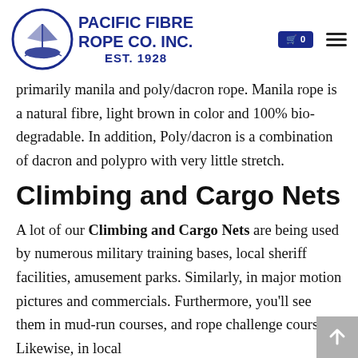Pacific Fibre Rope Co. Inc. EST. 1928
primarily manila and poly/dacron rope. Manila rope is a natural fibre, light brown in color and 100% bio-degradable. In addition, Poly/dacron is a combination of dacron and polypro with very little stretch.
Climbing and Cargo Nets
A lot of our Climbing and Cargo Nets are being used by numerous military training bases, local sheriff facilities, amusement parks. Similarly, in major motion pictures and commercials. Furthermore, you'll see them in mud-run courses, and rope challenge courses. Likewise, in local